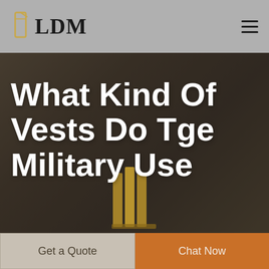LDM
What Kind Of Vests Do Tge Military Use
[Figure (photo): Dark background hero image showing an industrial or military warehouse setting with people, overlaid with a semi-transparent dark filter. Decorative gold/bronze cylindrical pillar elements visible in center foreground.]
Get a Quote
Chat Now